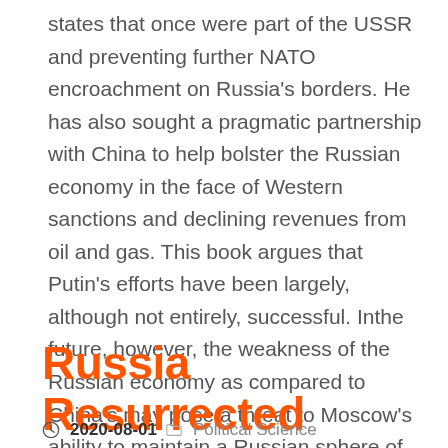states that once were part of the USSR and preventing further NATO encroachment on Russia's borders. He has also sought a pragmatic partnership with China to help bolster the Russian economy in the face of Western sanctions and declining revenues from oil and gas. This book argues that Putin's efforts have been largely, although not entirely, successful. Inthe future, however, the weakness of the Russian economy as compared to China's may pose a threat to Moscow's ability to maintain a Russian sphere of influence in its own neighborhood.
Russia Resurrected
2020-08-01  Political Science